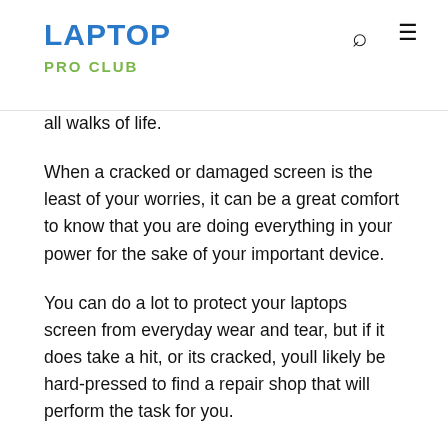LAPTOP PRO CLUB
all walks of life.
When a cracked or damaged screen is the least of your worries, it can be a great comfort to know that you are doing everything in your power for the sake of your important device.
You can do a lot to protect your laptops screen from everyday wear and tear, but if it does take a hit, or its cracked, youll likely be hard-pressed to find a repair shop that will perform the task for you.
In that moment you will have concerns about the laptop screen repair cost. It is pretty common for the people with a damaged laptop screen to search how much does it